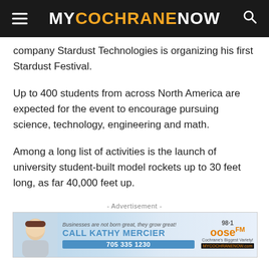MYCOCHRANENOW
company Stardust Technologies is organizing his first Stardust Festival.
Up to 400 students from across North America are expected for the event to encourage pursuing science, technology, engineering and math.
Among a long list of activities is the launch of university student-built model rockets up to 30 feet long, as far 40,000 feet up.
- Advertisement -
[Figure (other): Advertisement banner for Kathy Mercier / 98.1 Moose FM. Text: Businesses are not born great, they grow great! CALL KATHY MERCIER 705 335 1230. Cochrane's Biggest Variety! MyCochraneNow.com]